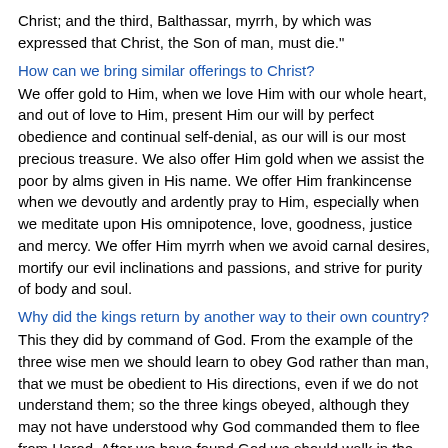Christ; and the third, Balthassar, myrrh, by which was expressed that Christ, the Son of man, must die."
How can we bring similar offerings to Christ?
We offer gold to Him, when we love Him with our whole heart, and out of love to Him, present Him our will by perfect obedience and continual self-denial, as our will is our most precious treasure. We also offer Him gold when we assist the poor by alms given in His name. We offer Him frankincense when we devoutly and ardently pray to Him, especially when we meditate upon His omnipotence, love, goodness, justice and mercy. We offer Him myrrh when we avoid carnal desires, mortify our evil inclinations and passions, and strive for purity of body and soul.
Why did the kings return by another way to their own country?
This they did by command of God. From the example of the three wise men we should learn to obey God rather than man, that we must be obedient to His directions, even if we do not understand them; so the three kings obeyed, although they may not have understood why God commanded them to flee from Herod. After we have found God we should walk in the path of virtue, and not return to our old sinful ways. "Our fatherland is paradise, heaven," writes St. Gregory. "We have departed from it by pride, disobedience, abuse of the senses, therefore it is needed that we return to it by obedience, contempt of the world, and by taming the desires of the flesh; thus we return to our own country by another road. By